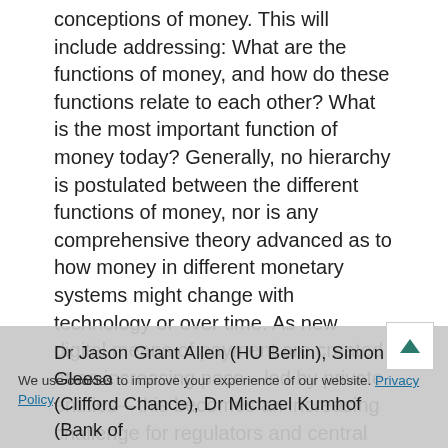conceptions of money. This will include addressing: What are the functions of money, and how do these functions relate to each other? What is the most important function of money today? Generally, no hierarchy is postulated between the different functions of money, nor is any comprehensive theory advanced as to how money in different monetary systems might change with technology or over time. As new digital means of payment are created at an increasing pace—led by private entities—this becomes an increasing challenge for regulators and central bankers. What is the thing that functions, what role does law play in its creation, and how might understanding that help us to develop functional analysis?
Dr Jason Grant Allen (HU Berlin), Simon Gleeson (Clifford Chance), Dr Michael Kumhof (Bank of England), and Professor Saulo T. Omarova
We use cookies to improve your experience of our website. Privacy Policy.